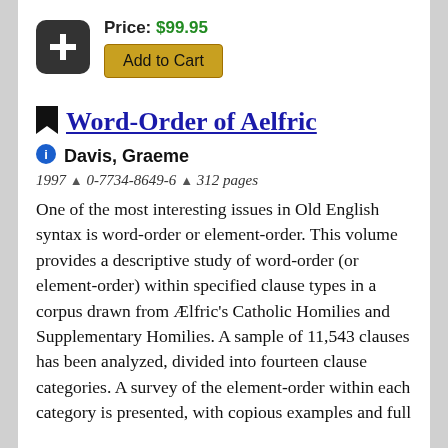[Figure (other): Black rounded-square plus icon button]
Price: $99.95
Add to Cart
Word-Order of Aelfric
Davis, Graeme
1997 ▲ 0-7734-8649-6 ▲ 312 pages
One of the most interesting issues in Old English syntax is word-order or element-order. This volume provides a descriptive study of word-order (or element-order) within specified clause types in a corpus drawn from Ælfric's Catholic Homilies and Supplementary Homilies. A sample of 11,543 clauses has been analyzed, divided into fourteen clause categories. A survey of the element-order within each category is presented, with copious examples and full